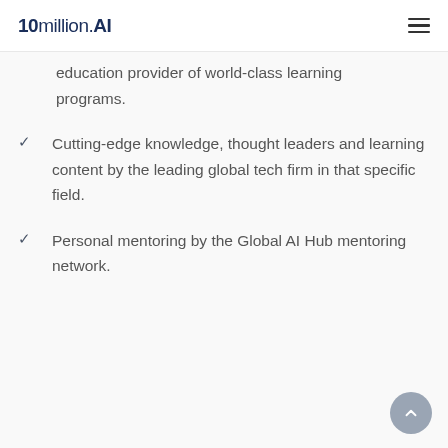10million.AI
education provider of world-class learning programs.
Cutting-edge knowledge, thought leaders and learning content by the leading global tech firm in that specific field.
Personal mentoring by the Global AI Hub mentoring network.